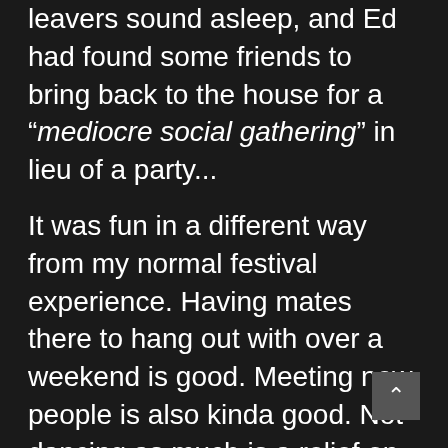leavers sound asleep, and Ed had found some friends to bring back to the house for a "mediocre social gathering" in lieu of a party...
It was fun in a different way from my normal festival experience. Having mates there to hang out with over a weekend is good. Meeting new people is also kinda good. Not dancing as much is a relief on my body, but I think I'd still prefer to Ride the Beat.
Next week is James Zabiela at Manning ahead of his Balance 029 mix release, looking forward to the mayhem!!